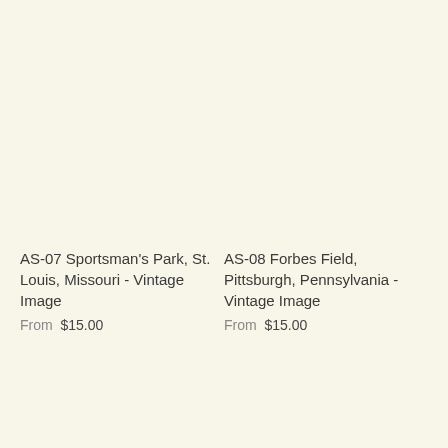AS-07 Sportsman's Park, St. Louis, Missouri - Vintage Image
From $15.00
AS-08 Forbes Field, Pittsburgh, Pennsylvania - Vintage Image
From $15.00